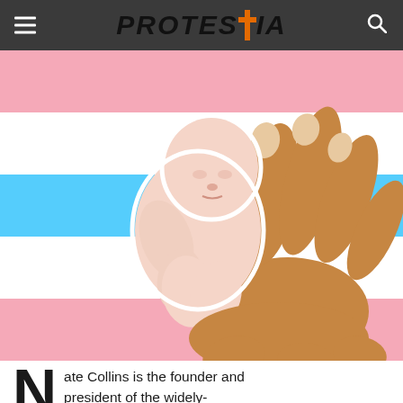PROTESTIA
[Figure (photo): A hand holding a small fetus model against a transgender pride flag background with pink, white, and blue horizontal stripes. The Protestia website header appears at the top with a dark gray navigation bar.]
Nate Collins is the founder and president of the widely-